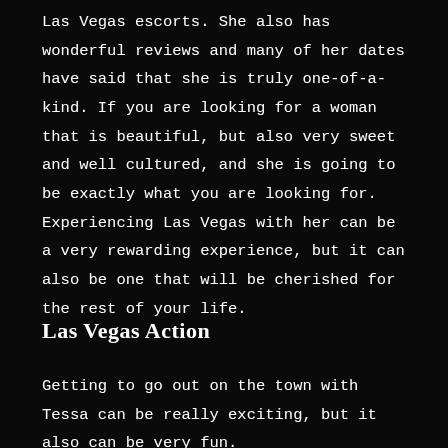Las Vegas escorts. She also has wonderful reviews and many of her dates have said that she is truly one-of-a-kind. If you are looking for a woman that is beautiful, but also very sweet and well cultured, and she is going to be exactly what you are looking for. Experiencing Las Vegas with her can be a very rewarding experience, but it can also be one that will be cherished for the rest of your life.
Las Vegas Action
Getting to go out on the town with Tessa can be really exciting, but it also can be very fun.